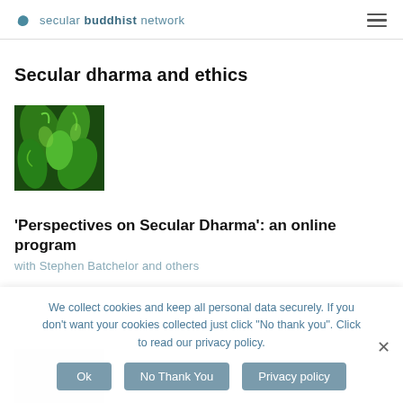secular buddhist network
Secular dharma and ethics
[Figure (photo): Close-up photo of green curled plant leaves or biological structures with a dark background]
'Perspectives on Secular Dharma': an online program
with Stephen Batchelor and others
[Figure (photo): Partially visible image at the bottom left, appears light grey/white toned]
We collect cookies and keep all personal data securely. If you don't want your cookies collected just click "No thank you". Click to read our privacy policy.